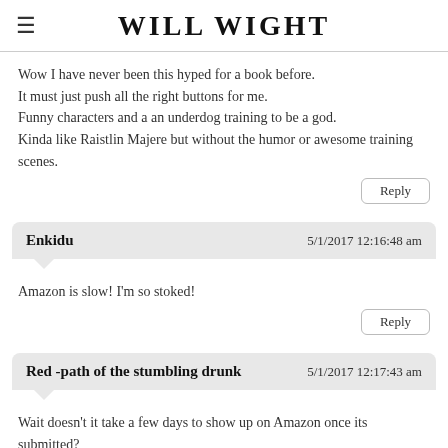WILL WIGHT
Wow I have never been this hyped for a book before.
It must just push all the right buttons for me.
Funny characters and a an underdog training to be a god.
Kinda like Raistlin Majere but without the humor or awesome training scenes.
Reply
Enkidu   5/1/2017 12:16:48 am
Amazon is slow! I'm so stoked!
Reply
Red -path of the stumbling drunk   5/1/2017 12:17:43 am
Wait doesn't it take a few days to show up on Amazon once its submitted?